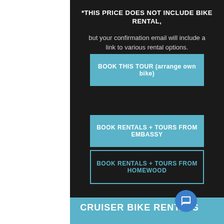*THIS PRICE DOES NOT INCLUDE BIKE RENTAL, but your confirmation email will include a link to various rental options.
BOOK THIS TOUR (arrange own bike)
BOOK RENTALS + TOURS FROM EMBASSY
BOOK RENTALS + TOURS FROM HOMEWOOD
CRUISER BIKE RENTALS